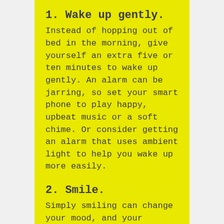1. Wake up gently.
Instead of hopping out of bed in the morning, give yourself an extra five or ten minutes to wake up gently. An alarm can be jarring, so set your smart phone to play happy, upbeat music or a soft chime. Or consider getting an alarm that uses ambient light to help you wake up more easily.
2. Smile.
Simply smiling can change your mood, and your outlook. Smiling increases endorphins, neurotransmitters that relieve pain, heighten self-esteem, create feelings of wellbeing and mild euphoria. It's